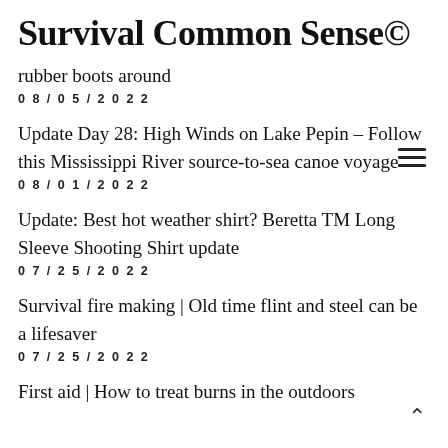Survival Common Sense©
rubber boots around
08/05/2022
Update Day 28: High Winds on Lake Pepin – Follow this Mississippi River source-to-sea canoe voyage
08/01/2022
Update: Best hot weather shirt? Beretta TM Long Sleeve Shooting Shirt update
07/25/2022
Survival fire making | Old time flint and steel can be a lifesaver
07/25/2022
First aid | How to treat burns in the outdoors